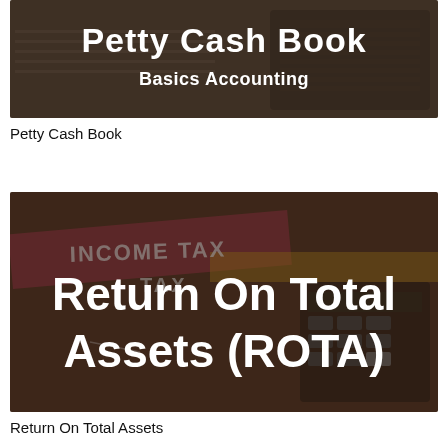[Figure (photo): Banner image with dark overlay showing a calculator and papers, with white text 'Petty Cash Book' and subtitle 'Basics Accounting']
Petty Cash Book
[Figure (photo): Banner image with dark overlay showing income tax forms and a calculator, with large white text 'Return On Total Assets (ROTA)']
Return On Total Assets